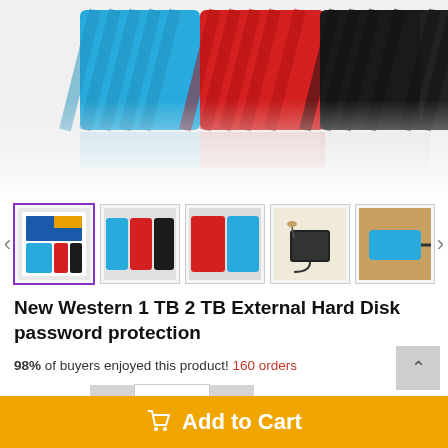[Figure (photo): Product photo showing multiple WD My Passport external hard drives in blue, red, and black colors lined up, reflected on white surface]
[Figure (photo): Thumbnail carousel with 5 product images: (1) packaging box selected with purple border, (2) three drives in blue/red/black, (3) two drives red and blue, (4) drive with cable and earbuds, (5) blue drive on wooden surface]
New Western 1 TB 2 TB External Hard Disk password protection
98% of buyers enjoyed this product! 160 orders
Quantity: 1